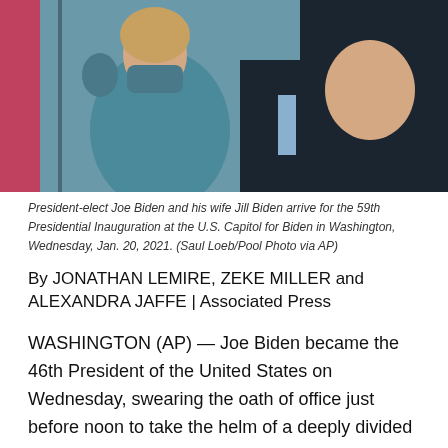[Figure (photo): President-elect Joe Biden and his wife Jill Biden arrive for the 59th Presidential Inauguration at the U.S. Capitol. Jill Biden is wearing a teal/blue outfit and mask, waving. Joe Biden is in a dark suit with blue tie.]
President-elect Joe Biden and his wife Jill Biden arrive for the 59th Presidential Inauguration at the U.S. Capitol for Biden in Washington, Wednesday, Jan. 20, 2021. (Saul Loeb/Pool Photo via AP)
By JONATHAN LEMIRE, ZEKE MILLER and ALEXANDRA JAFFE | Associated Press
WASHINGTON (AP) — Joe Biden became the 46th President of the United States on Wednesday, swearing the oath of office just before noon to take the helm of a deeply divided nation while inheriting a confluence of crises arguably greater than any faced by his